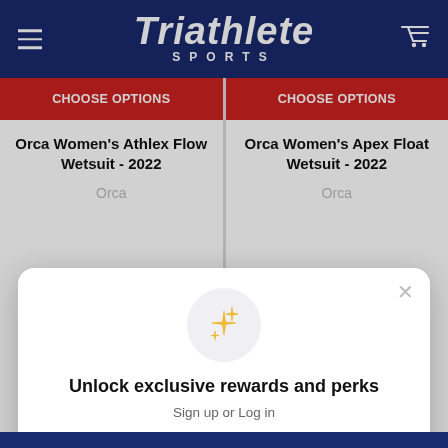Triathlete SPORTS
CHOOSE OPTIONS
Orca Women's Athlex Flow Wetsuit - 2022
Orca
CHOOSE OPTIONS
Orca Women's Apex Float Wetsuit - 2022
Orca
Unlock exclusive rewards and perks
Sign up or Log in
Sign up
Already have an account? Sign in